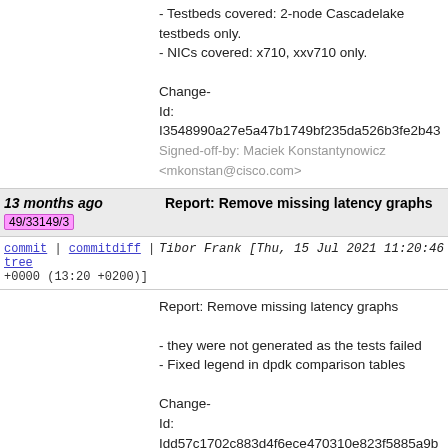- Testbeds covered: 2-node Cascadelake testbeds only.
- NICs covered: x710, xxv710 only.

Change-Id: I3548990a27e5a47b1749bf235da526b3fe2b43
Signed-off-by: Maciek Konstantynowicz <mkonstan@cisco.com>
13 months ago  49/33149/3  Report: Remove missing latency graphs
commit | commitdiff | tree  Tibor Frank [Thu, 15 Jul 2021 11:20:46 +0000 (13:20 +0200)]
Report: Remove missing latency graphs

- they were not generated as the tests failed
- Fixed legend in dpdk comparison tables

Change-Id: Idd57c1702c883d4f6ece470310e823f5885a9b
Signed-off-by: Tibor Frank <tifrank@cisco.com>
13 months ago  41/33141/1  Report: Configure rls2106.29, add data
commit | commitdiff | tree  Tibor Frank [Thu, 15 Jul 2021 07:52:14 +0000 (09:52 +0200)]